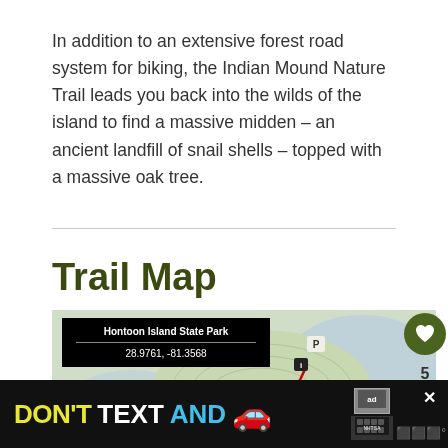In addition to an extensive forest road system for biking, the Indian Mound Nature Trail leads you back into the wilds of the island to find a massive midden – an ancient landfill of snail shells – topped with a massive oak tree.
Trail Map
[Figure (map): Map of Hontoon Island State Park showing coordinates 28.9761, -81.3568 with a red trail route marked on a topographic/satellite background with a parking marker (P) and trail markers.]
[Figure (infographic): Advertisement banner: DON'T TEXT AND [car emoji] with NHTSA logo and ad badge. Close button and weather widget visible.]